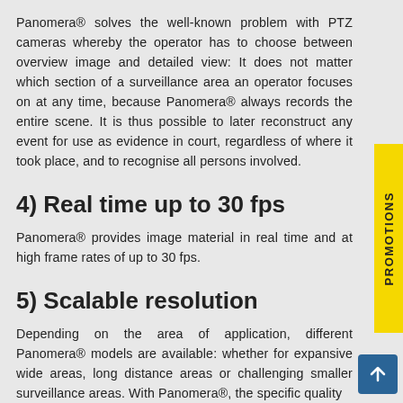Panomera® solves the well-known problem with PTZ cameras whereby the operator has to choose between overview image and detailed view: It does not matter which section of a surveillance area an operator focuses on at any time, because Panomera® always records the entire scene. It is thus possible to later reconstruct any event for use as evidence in court, regardless of where it took place, and to recognise all persons involved.
4) Real time up to 30 fps
Panomera® provides image material in real time and at high frame rates of up to 30 fps.
5) Scalable resolution
Depending on the area of application, different Panomera® models are available: whether for expansive wide areas, long distance areas or challenging smaller surveillance areas. With Panomera®, the specific quality